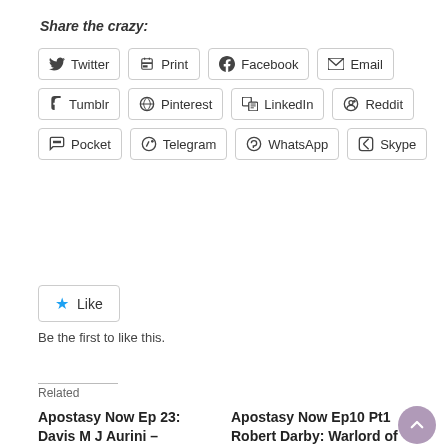Share the crazy:
[Figure (other): Social share buttons grid: Twitter, Print, Facebook, Email, Tumblr, Pinterest, LinkedIn, Reddit, Pocket, Telegram, WhatsApp, Skype]
[Figure (other): Like button with star icon]
Be the first to like this.
Related
Apostasy Now Ep 23: Davis M J Aurini – Documentary called The Sarkeesian Effect
September 24, 2014
Apostasy Now Ep10 Pt1 Robert Darby: Warlord of the Dumbed, Down, and Atheist
January 26, 2014